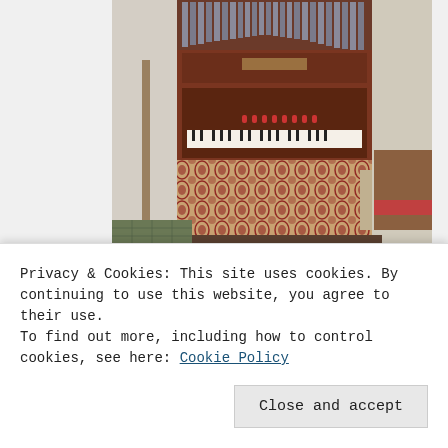[Figure (photo): A pipe organ with wooden casing, pipes visible at top, keyboard console in the middle, and a decorative red and cream damask fabric panel at the bottom. Located inside a church interior.]
— The pretty pipe-organ.
[Figure (photo): Partial view of a second image at the bottom of the page, partially obscured by cookie banner.]
Privacy & Cookies: This site uses cookies. By continuing to use this website, you agree to their use.
To find out more, including how to control cookies, see here: Cookie Policy
Close and accept